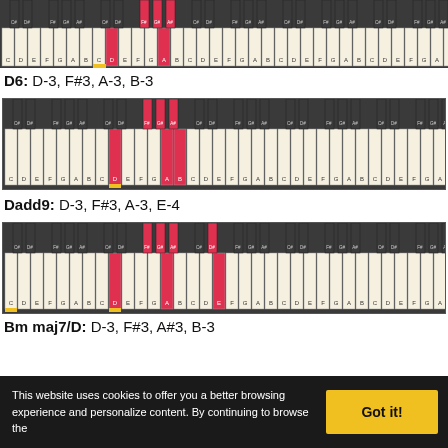[Figure (illustration): Piano keyboard diagram showing D-3, F#3, A-3 keys highlighted in red for D major chord (partial, top of page)]
D6: D-3, F#3, A-3, B-3
[Figure (illustration): Piano keyboard diagram showing D-3, F#3, A-3, B-3 keys highlighted in red for D6 chord]
Dadd9: D-3, F#3, A-3, E-4
[Figure (illustration): Piano keyboard diagram showing D-3, F#3, A-3, E-4 keys highlighted in red for Dadd9 chord]
Bm maj7/D: D-3, F#3, A#3, B-3
This website uses cookies to offer you a better browsing experience and personalize content. By continuing to browse the site...